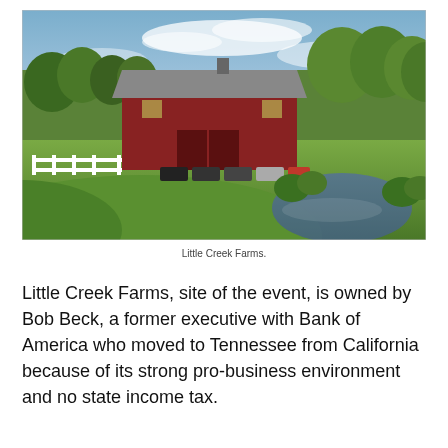[Figure (photo): Aerial/landscape view of Little Creek Farms showing a large red barn with a grey roof, white wooden fence on the left, cars parked in front of the barn, green trees in background, and a pond in the lower right with lush green grass throughout.]
Little Creek Farms.
Little Creek Farms, site of the event, is owned by Bob Beck, a former executive with Bank of America who moved to Tennessee from California because of its strong pro-business environment and no state income tax.